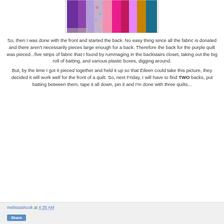[Figure (photo): Photo of colorful fabric strips hanging vertically — purple, lavender, floral, pink, hot pink, magenta, gold, and teal/blue colors — likely quilt backing materials.]
So, then I was done with the front and started the back. No easy thing since all the fabric is donated and there aren't necessarily pieces large enough for a back. Therefore the back for the purple quilt was pieced...five strips of fabric that I found by rummaging in the backstairs closet, taking out the big roll of batting, and various plastic boxes, digging around.
But, by the time I got it pieced together and held it up so that Eileen could take this picture, they decided it will work well for the front of a quilt. So, next Friday, I will have to find TWO backs, put batting between them, tape it all down, pin it and I'm done with three quilts...
melissashook at 4:35 AM
Share